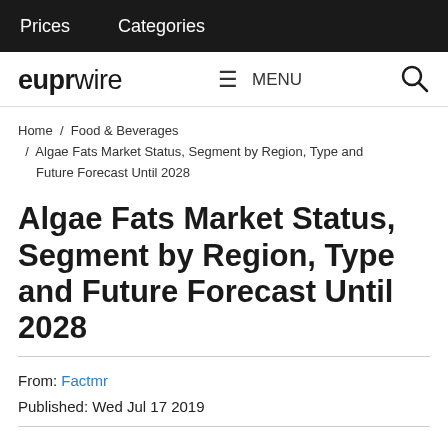Prices   Categories
[Figure (logo): euprwire logo with bold 'eupr' and light 'wire', with hamburger menu icon and MENU text, and a search icon]
Home / Food & Beverages / Algae Fats Market Status, Segment by Region, Type and Future Forecast Until 2028
Algae Fats Market Status, Segment by Region, Type and Future Forecast Until 2028
From: Factmr
Published: Wed Jul 17 2019